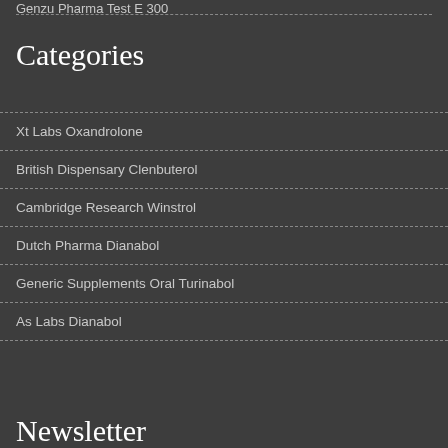Genzu Pharma Test E 300
Categories
Xt Labs Oxandrolone
British Dispensary Clenbuterol
Cambridge Research Winstrol
Dutch Pharma Dianabol
Generic Supplements Oral Turinabol
As Labs Dianabol
Newsletter